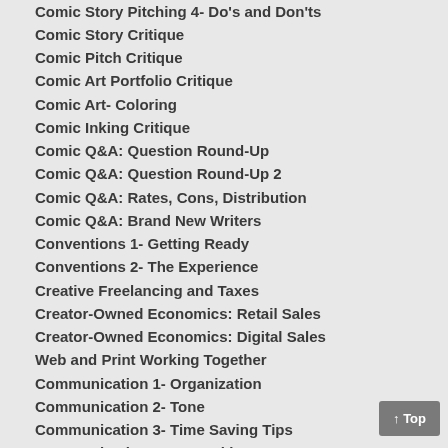Comic Story Pitching 4- Do's and Don'ts
Comic Story Critique
Comic Pitch Critique
Comic Art Portfolio Critique
Comic Art- Coloring
Comic Inking Critique
Comic Q&A: Question Round-Up
Comic Q&A: Question Round-Up 2
Comic Q&A: Rates, Cons, Distribution
Comic Q&A: Brand New Writers
Conventions 1- Getting Ready
Conventions 2- The Experience
Creative Freelancing and Taxes
Creator-Owned Economics: Retail Sales
Creator-Owned Economics: Digital Sales
Web and Print Working Together
Communication 1- Organization
Communication 2- Tone
Communication 3- Time Saving Tips
Communication 4- Networking
Promotion: Key Retailers
Promotion: Your Press List
Promotion: Building Retailer Trust
Jealousy Is Creative Poison
Productivity and Writer's Block
Links
Zub on Amazon
Zub on deviantART
Zub on Facebook